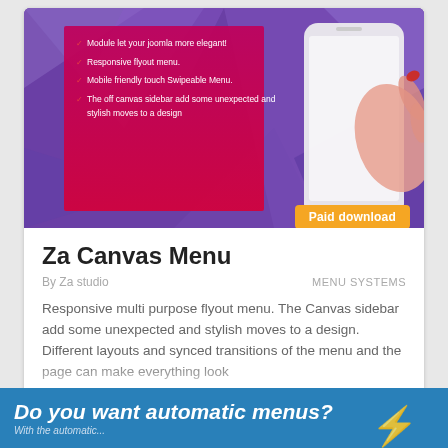[Figure (screenshot): Product card screenshot showing Za Canvas Menu Joomla extension with a purple polygon background hero image featuring a hand touching a smartphone with a red canvas menu overlay, bullet points listing features, an orange 'Paid download' badge, title, author, category, description text, rating badge showing 5 stars, 8 reviews, and J3 compatibility badge. Below the card is a blue banner reading 'Do you want automatic menus?']
Za Canvas Menu
By Za studio
MENU SYSTEMS
Responsive multi purpose flyout menu. The Canvas sidebar add some unexpected and stylish moves to a design. Different layouts and synced transitions of the menu and the page can make everything look
★ 5   8 reviews   J3
Do you want automatic menus?